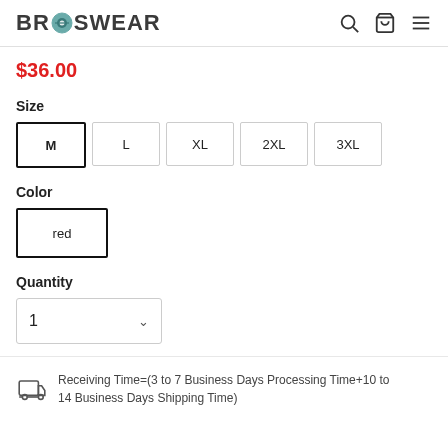BROSWEAR
$36.00
Size
M  L  XL  2XL  3XL
Color
red
Quantity
1
Receiving Time=(3 to 7 Business Days Processing Time+10 to 14 Business Days Shipping Time)